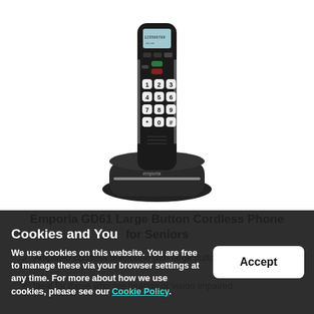[Figure (photo): Emporia GD61 cordless phone handset in black with large numbered white buttons (1-9, *, 0, #), LCD display at top, and charging base station. White background.]
Emporia GD61 Large Button Cordless Phone for Seniors
Amplified cordless telephone with large buttons
Ideal for those who are hearing or vision impaired
Cookies and You
We use cookies on this website. You are free to manage these via your browser settings at any time. For more about how we use cookies, please see our Cookie Policy.